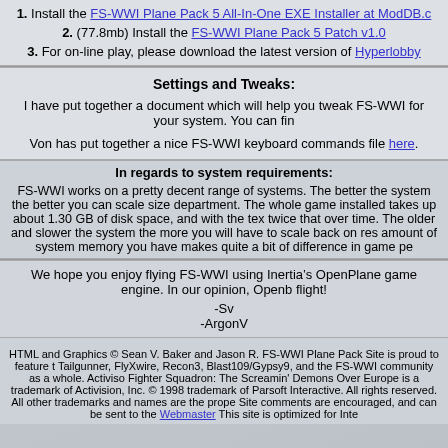1. Install the FS-WWI Plane Pack 5 All-In-One EXE Installer at ModDB.c
2. (77.8mb) Install the FS-WWI Plane Pack 5 Patch v1.0
3. For on-line play, please download the latest version of Hyperlobby
Settings and Tweaks:
I have put together a document which will help you tweak FS-WWI for your system. You can fin
Von has put together a nice FS-WWI keyboard commands file here.
In regards to system requirements:
FS-WWI works on a pretty decent range of systems. The better the system the better you can scale size department. The whole game installed takes up about 1.30 GB of disk space, and with the tex twice that over time. The older and slower the system the more you will have to scale back on res amount of system memory you have makes quite a bit of difference in game pe
We hope you enjoy flying FS-WWI using Inertia’s OpenPlane game engine. In our opinion, Openb flight!
-Sv
-ArgonV
HTML and Graphics © Sean V. Baker and Jason R. FS-WWI Plane Pack Site is proud to feature t Tailgunner, FlyXwire, Recon3, Blast109/Gypsy9, and the FS-WWI community as a whole. Activiso Fighter Squadron: The Screamin' Demons Over Europe is a trademark of Activision, Inc. © 1998 trademark of Parsoft Interactive. All rights reserved. All other trademarks and names are the prope Site comments are encouraged, and can be sent to the Webmaster This site is optimized for Inte